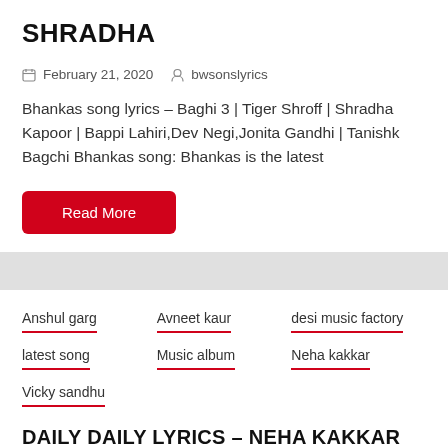SHRADHA
February 21, 2020   bwsonslyrics
Bhankas song lyrics – Baghi 3 | Tiger Shroff | Shradha Kapoor | Bappi Lahiri,Dev Negi,Jonita Gandhi | Tanishk Bagchi Bhankas song: Bhankas is the latest
Read More
Anshul garg
Avneet kaur
desi music factory
latest song
Music album
Neha kakkar
Vicky sandhu
DAILY DAILY LYRICS – NEHA KAKKAR RIYAJ ALY AND AVNEET KAUR
February 17, 2020   bwsonslyrics